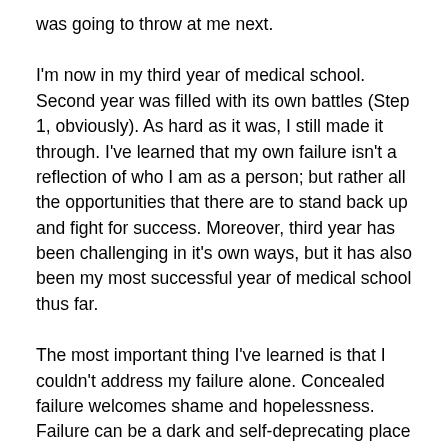was going to throw at me next.
I'm now in my third year of medical school. Second year was filled with its own battles (Step 1, obviously). As hard as it was, I still made it through. I've learned that my own failure isn't a reflection of who I am as a person; but rather all the opportunities that there are to stand back up and fight for success. Moreover, third year has been challenging in it's own ways, but it has also been my most successful year of medical school thus far.
The most important thing I've learned is that I couldn't address my failure alone. Concealed failure welcomes shame and hopelessness. Failure can be a dark and self-deprecating place when handling it alone, and for that reason, we all need a couple friends nearby to remind us to turn the light back on. For that reason, I've revised my mom's advice. The hardest part about medical school is … medical school.